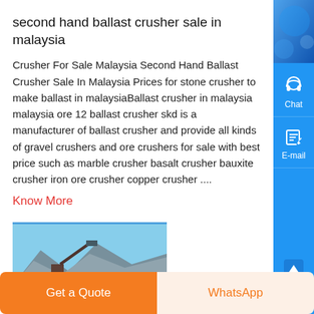second hand ballast crusher sale in malaysia
Crusher For Sale Malaysia Second Hand Ballast Crusher Sale In Malaysia Prices for stone crusher to make ballast in malaysiaBallast crusher in malaysia malaysia ore 12 ballast crusher skd is a manufacturer of ballast crusher and provide all kinds of gravel crushers and ore crushers for sale with best price such as marble crusher basalt crusher bauxite crusher iron ore crusher copper crusher ....
Know More
[Figure (photo): Outdoor photo of a crushing/mining operation site with mountains in background, branded with ZEND logo]
[Figure (other): Blue sidebar with chat headphone icon and e-mail icon for contact options]
Get a Quote
WhatsApp